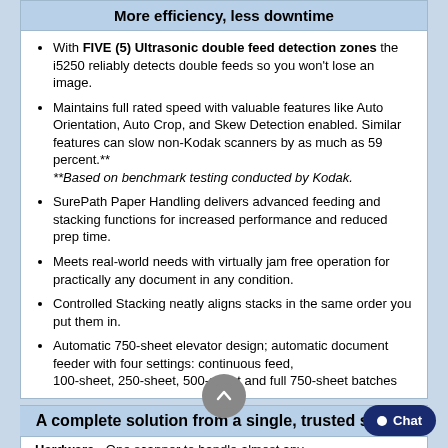More efficiency, less downtime
With FIVE (5) Ultrasonic double feed detection zones the i5250 reliably detects double feeds so you won't lose an image.
Maintains full rated speed with valuable features like Auto Orientation, Auto Crop, and Skew Detection enabled. Similar features can slow non-Kodak scanners by as much as 59 percent.** **Based on benchmark testing conducted by Kodak.
SurePath Paper Handling delivers advanced feeding and stacking functions for increased performance and reduced prep time.
Meets real-world needs with virtually jam free operation for practically any document in any condition.
Controlled Stacking neatly aligns stacks in the same order you put them in.
Automatic 750-sheet elevator design; automatic document feeder with four settings: continuous feed, 100-sheet, 250-sheet, 500-sheet and full 750-sheet batches
A complete solution from a single, trusted source
Hardware - One scanner to handle almost any